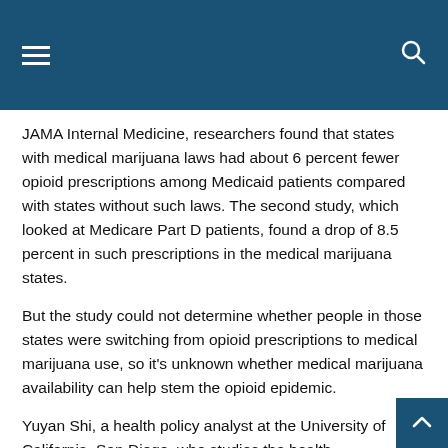JAMA Internal Medicine, researchers found that states with medical marijuana laws had about 6 percent fewer opioid prescriptions among Medicaid patients compared with states without such laws. The second study, which looked at Medicare Part D patients, found a drop of 8.5 percent in such prescriptions in the medical marijuana states.
But the study could not determine whether people in those states were switching from opioid prescriptions to medical marijuana use, so it's unknown whether medical marijuana availability can help stem the opioid epidemic.
Yuyan Shi, a health policy analyst at the University of California, San Diego, who studies the health consequences of marijuana and opioid use, said medical marijuana has shown some promise in reducing opioid addiction and abuse, but without strong evidence that cannabis helps individual patients better than opioids do, is it is too early to draw conclusions. In an interview, she added that the study planned by the